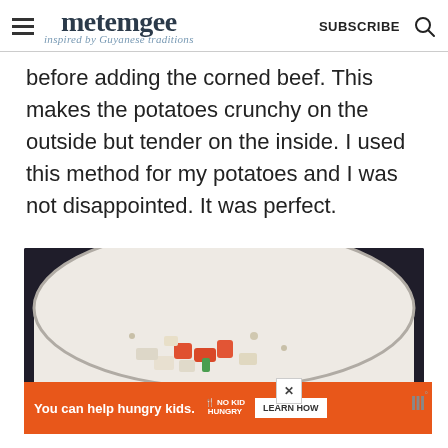metemgee — inspired by Guyanese traditions — SUBSCRIBE
before adding the corned beef. This makes the potatoes crunchy on the outside but tender on the inside. I used this method for my potatoes and I was not disappointed. It was perfect.
[Figure (photo): A white skillet/pan with diced vegetables including tomatoes, onions, and green peppers being cooked]
You can help hungry kids. NO KID HUNGRY LEARN HOW